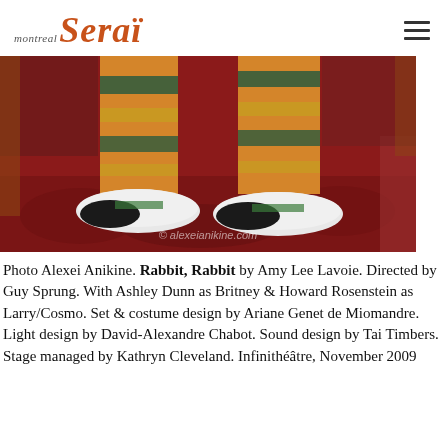montreal serai
[Figure (photo): Photo of clown shoes and colorful striped pants standing on a patterned red carpet/rug, watermark reads alexeianikine.com]
Photo Alexei Anikine. Rabbit, Rabbit by Amy Lee Lavoie. Directed by Guy Sprung. With Ashley Dunn as Britney & Howard Rosenstein as Larry/Cosmo. Set & costume design by Ariane Genet de Miomandre. Light design by David-Alexandre Chabot. Sound design by Tai Timbers. Stage managed by Kathryn Cleveland. Infinithéâtre, November 2009